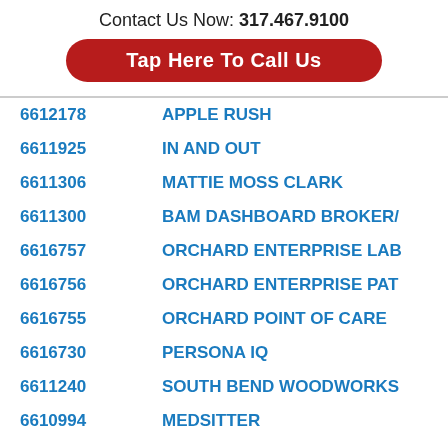Contact Us Now: 317.467.9100
Tap Here To Call Us
| ID | Name |
| --- | --- |
| 6612178 | APPLE RUSH |
| 6611925 | IN AND OUT |
| 6611306 | MATTIE MOSS CLARK |
| 6611300 | BAM DASHBOARD BROKER/ |
| 6616757 | ORCHARD ENTERPRISE LAB |
| 6616756 | ORCHARD ENTERPRISE PAT |
| 6616755 | ORCHARD POINT OF CARE |
| 6616730 | PERSONA IQ |
| 6611240 | SOUTH BEND WOODWORKS |
| 6610994 | MEDSITTER |